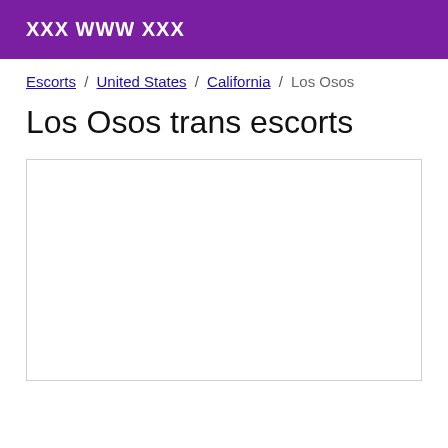XXX WWW XXX
Escorts / United States / California / Los Osos
Los Osos trans escorts